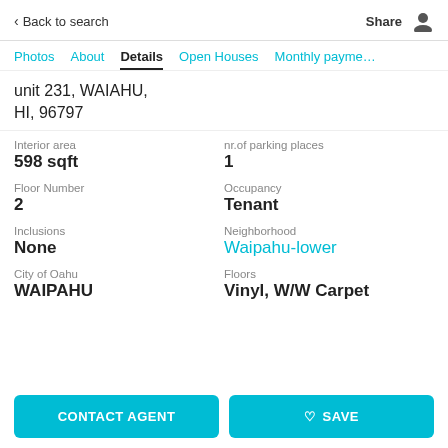< Back to search    Share
Photos  About  Details  Open Houses  Monthly payments
unit 231, WAIAHU, HI, 96797
Interior area
598 sqft
nr.of parking places
1
Floor Number
2
Occupancy
Tenant
Inclusions
None
Neighborhood
Waipahu-lower
City of Oahu
WAIPAHU
Floors
Vinyl, W/W Carpet
CONTACT AGENT
♡ SAVE